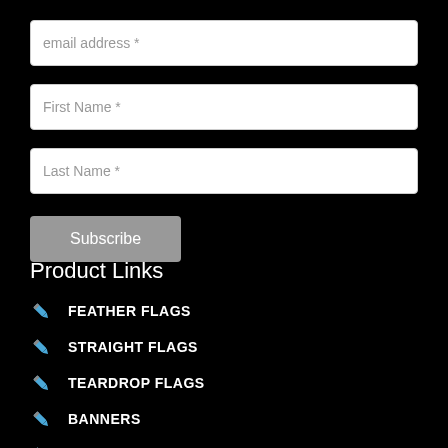email address *
First Name *
Last Name *
Subscribe
Product Links
FEATHER FLAGS
STRAIGHT FLAGS
TEARDROP FLAGS
BANNERS
BUMPER STICKERS